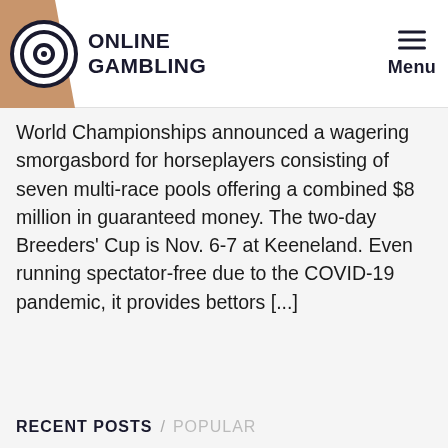ONLINE GAMBLING — Menu
World Championships announced a wagering smorgasbord for horseplayers consisting of seven multi-race pools offering a combined $8 million in guaranteed money. The two-day Breeders' Cup is Nov. 6-7 at Keeneland. Even running spectator-free due to the COVID-19 pandemic, it provides bettors [...]
RECENT POSTS / POPULAR
[Figure (illustration): Thumbnail image showing bubble chart of discretionary and disposable income trends]
Discretionary And Disposable Income Trends In The U.S.